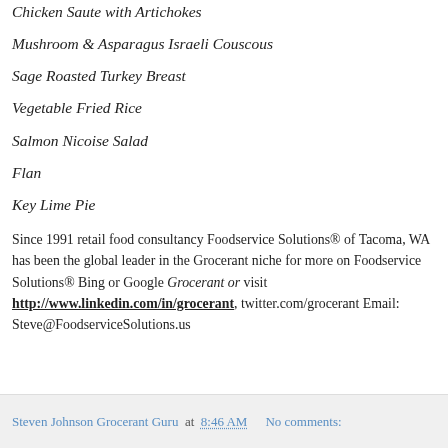Chicken Saute with Artichokes
Mushroom & Asparagus Israeli Couscous
Sage Roasted Turkey Breast
Vegetable Fried Rice
Salmon Nicoise Salad
Flan
Key Lime Pie
Since 1991 retail food consultancy Foodservice Solutions® of Tacoma, WA has been the global leader in the Grocerant niche for more on Foodservice Solutions® Bing or Google Grocerant or visit http://www.linkedin.com/in/grocerant, twitter.com/grocerant Email: Steve@FoodserviceSolutions.us
Steven Johnson Grocerant Guru at 8:46 AM   No comments: